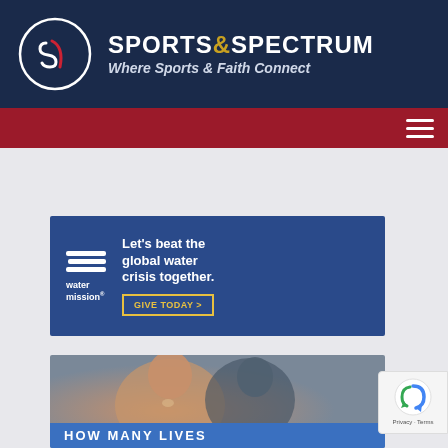[Figure (logo): Sports Spectrum logo with circular emblem and text 'SPORTS SPECTRUM - Where Sports & Faith Connect' on dark navy background]
[Figure (screenshot): Red navigation bar with hamburger menu icon on right]
[Figure (infographic): Banner ad for Sports Spectrum Magazine Fall Issue featuring Man of God podcast with DeMario Davis, Bryant Young, and Bryce Song]
[Figure (infographic): Water Mission advertisement: 'Let's beat the global water crisis together. GIVE TODAY >' on blue background with Water Mission logo]
[Figure (photo): Photo of smiling woman and boy with text overlay 'HOW MANY LIVES' on blue banner at bottom]
[Figure (other): Google reCAPTCHA badge showing Privacy and Terms links]